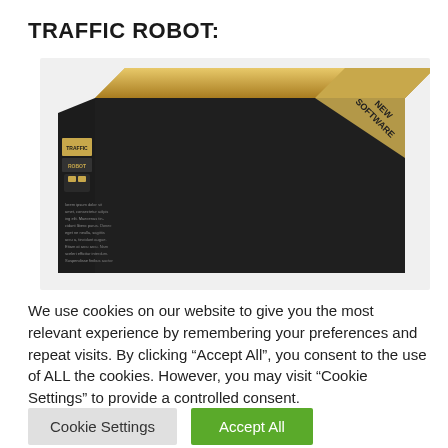TRAFFIC ROBOT:
[Figure (illustration): Product box image for Traffic Robot software. A rectangular black and gold software box with 'TRAFFIC ROBOT' branding on the left side panel and a gold 'NEW SOFTWARE' badge in the upper right corner.]
We use cookies on our website to give you the most relevant experience by remembering your preferences and repeat visits. By clicking “Accept All”, you consent to the use of ALL the cookies. However, you may visit "Cookie Settings" to provide a controlled consent.
Cookie Settings   Accept All